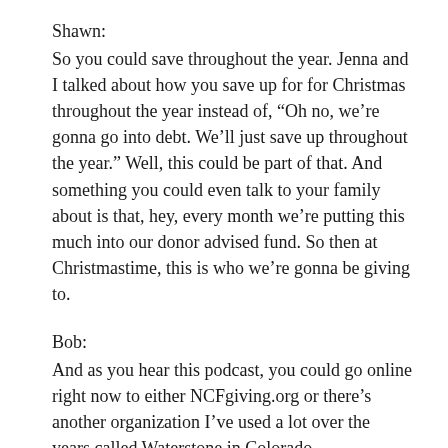Shawn:
So you could save throughout the year. Jenna and I talked about how you save up for for Christmas throughout the year instead of, “Oh no, we’re gonna go into debt. We’ll just save up throughout the year.” Well, this could be part of that. And something you could even talk to your family about is that, hey, every month we’re putting this much into our donor advised fund. So then at Christmastime, this is who we’re gonna be giving to.
Bob:
And as you hear this podcast, you could go online right now to either NCFgiving.org or there’s another organization I’ve used a lot over the years called Waterstone in Colorado